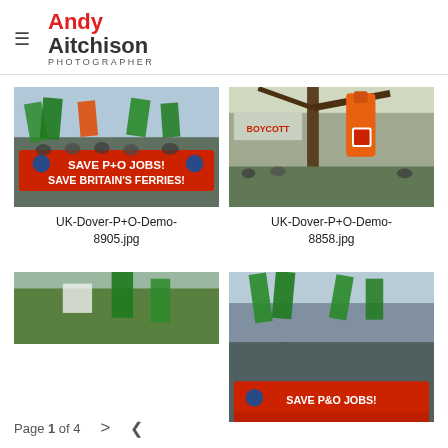Andy Aitchison Photographer
[Figure (photo): Protest march with demonstrators holding a red banner reading 'SAVE P+O JOBS! SAVE BRITAIN'S FERRIES!' with colourful flags]
UK-Dover-P+O-Demo-8905.jpg
[Figure (photo): Orange boiler suit hanging from a tree branch at a protest, with crowd and 'BOYCOTT' sign in background]
UK-Dover-P+O-Demo-8858.jpg
[Figure (photo): Partial view of protest scene with green flags and hillside]
[Figure (photo): Protest march with green flags and red 'SAVE P&O JOBS!' banner visible]
Page 1 of 4